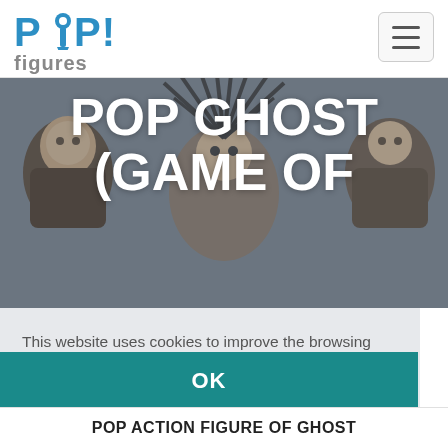POP! figures
POP GHOST (GAME OF
This website uses cookies to improve the browsing experience. By continuing your browsing, you expressly agree to the use of these cookies.  Read more
OK
POP ACTION FIGURE OF GHOST